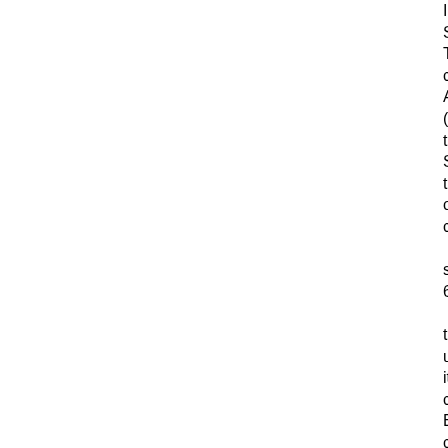IPv4 Settings Tab, change Auto (DHCP) to Shared to other computers step 6.save to use it connect Ethernet cable from other computers or router